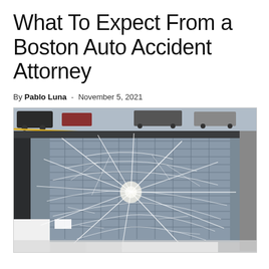What To Expect From a Boston Auto Accident Attorney
By Pablo Luna - November 5, 2021
[Figure (photo): Close-up photo of a severely cracked and shattered car windshield, viewed from outside the vehicle. The damage shows a large spider-web fracture pattern centered on the windshield. The car is white/light colored, parked on a street with other vehicles and a road with yellow lines visible in the background.]